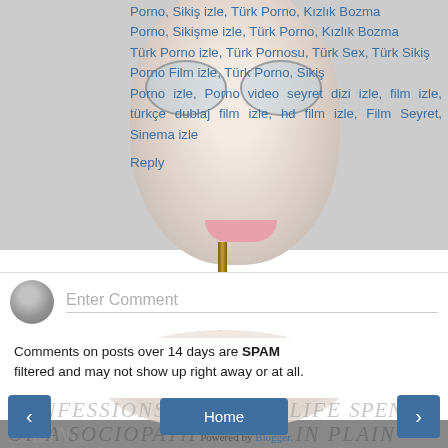Porno, Sikiş izle, Türk Porno, Kızlık Bozma Porno, Sikişme izle, Türk Porno, Kızlık Bozma Türk Porno izle, Türk Pornosu, Türk Sex, Türk Sikiş Porno Film izle, Türk Porno, Sikiş Porno izle, Porno video seyret dizi izle, film izle, türkçe dublaj film izle, hd film izle, Film Seyret, Sinema izle
Reply
Enter Comment
Comments on posts over 14 days are SPAM filtered and may not show up right away or at all.
‹
Home
›
[Figure (illustration): Background showing a masked/faced figure with large goggle-like glasses and lollipop, partially visible behind text overlay. Book cover watermark text reading CONFESSIONS OF A SOCIOPATH A LIFE SPENT HIDING IN PLAIN SIGHT visible at bottom.]
CONFESSIONS OF A SOCIOPATH A LIFE SPENT HIDING IN PLAIN SIGHT
View web version
Powered by Blogger.